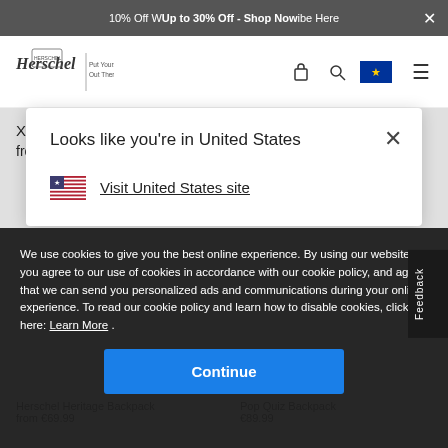10% Off W... Up to 30% Off - Shop Now ...be Here
[Figure (logo): Herschel Supply Co. logo with tagline 'Put Yourself Out There']
XL
from €59.99
Backpack
from €109.99
Looks like you're in United States
Visit United States site
We use cookies to give you the best online experience. By using our website you agree to our use of cookies in accordance with our cookie policy, and agree that we can send you personalized ads and communications during your online experience. To read our cookie policy and learn how to disable cookies, click here: Learn More .
Continue
Herschel Heritage Backpack
from €69.99
Pop Quiz Backpack
€89.99